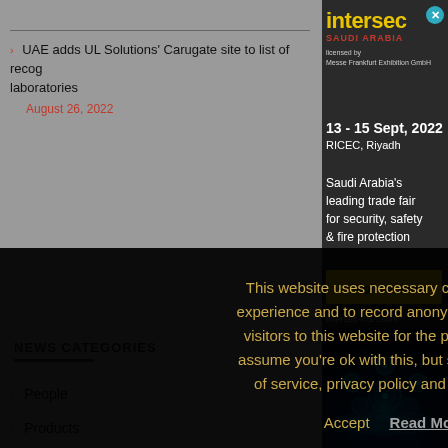UAE adds UL Solutions' Carugate site to list of recognized laboratories
August 26, 2022
This website uses necessary cookies to improve your experience and to record anonymous information about visitors to this website for the purposes of analytics. We assume you're ok with this, but suggest you read our terms of service, privacy policy and cookie policy
Accept   Read More
NEWS CATEGORIES
People
Products
[Figure (infographic): Intersec Saudi Arabia advertisement banner. Yellow 'intersec' logo, red 'SAUDI ARABIA' text, licensed by Messe Frankfurt Exhibition GmbH. 13-15 Sept, 2022, RICEC, Riyadh. Saudi Arabia's leading trade fair for security, safety & fire protection. Yellow Register today button, intersec-KSA.com URL, glowing blue tech circles image at bottom.]